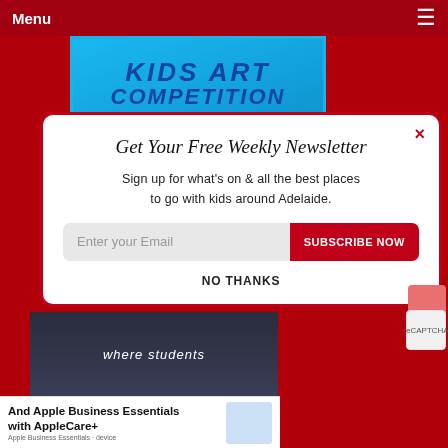Menu
[Figure (illustration): Kids Art Competition banner powered by Sumo, blue background with bold white and blue text]
Get Your Free Weekly Newsletter
Sign up for what's on & all the best places to go with kids around Adelaide.
Enter your Email  SUBSCRIBE NOW
NO THANKS
[Figure (photo): School students in uniform with text 'where students']
[Figure (screenshot): Advertisement: And Apple Business Essentials with AppleCare+]